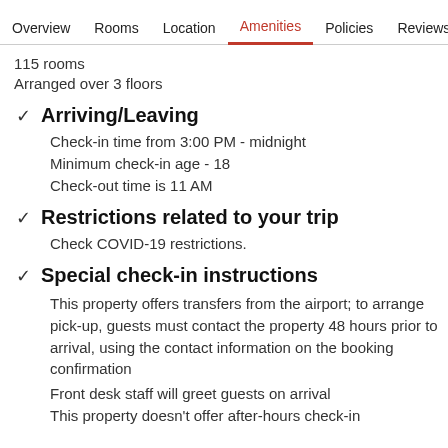Overview  Rooms  Location  Amenities  Policies  Reviews
115 rooms
Arranged over 3 floors
Arriving/Leaving
Check-in time from 3:00 PM - midnight
Minimum check-in age - 18
Check-out time is 11 AM
Restrictions related to your trip
Check COVID-19 restrictions.
Special check-in instructions
This property offers transfers from the airport; to arrange pick-up, guests must contact the property 48 hours prior to arrival, using the contact information on the booking confirmation
Front desk staff will greet guests on arrival
This property doesn't offer after-hours check-in